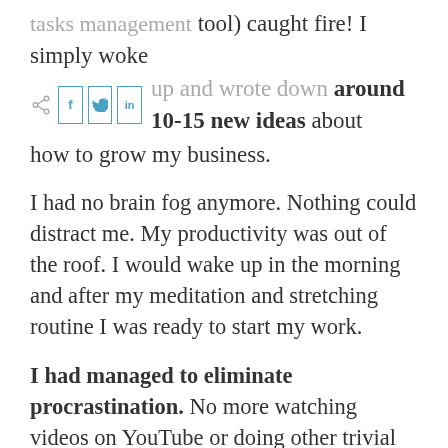tasks management tool) caught fire! I simply woke up and wrote down around 10-15 new ideas about how to grow my business.
I had no brain fog anymore. Nothing could distract me. My productivity was out of the roof. I would wake up in the morning and after my meditation and stretching routine I was ready to start my work.
I had managed to eliminate procrastination. No more watching videos on YouTube or doing other trivial tasks. I was doing what was needed to be done.
I also noticed great improvements on how my body functions. I wasn't burping or farting anymore. I